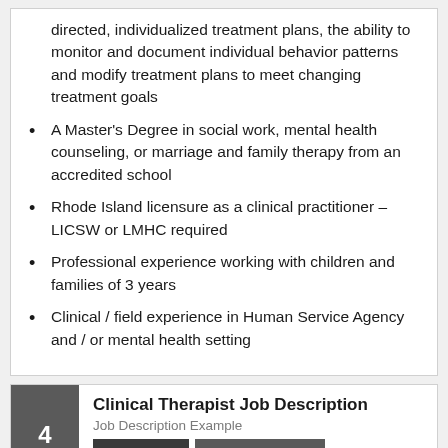directed, individualized treatment plans, the ability to monitor and document individual behavior patterns and modify treatment plans to meet changing treatment goals
A Master's Degree in social work, mental health counseling, or marriage and family therapy from an accredited school
Rhode Island licensure as a clinical practitioner – LICSW or LMHC required
Professional experience working with children and families of 3 years
Clinical / field experience in Human Service Agency and / or mental health setting
Clinical Therapist Job Description
Job Description Example